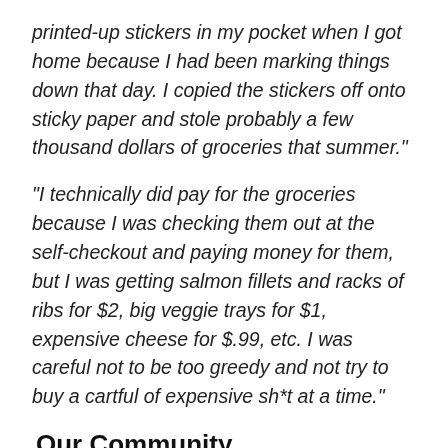printed-up stickers in my pocket when I got home because I had been marking things down that day. I copied the stickers off onto sticky paper and stole probably a few thousand dollars of groceries that summer."
"I technically did pay for the groceries because I was checking them out at the self-checkout and paying money for them, but I was getting salmon fillets and racks of ribs for $2, big veggie trays for $1, expensive cheese for $.99, etc. I was careful not to be too greedy and not try to buy a cartful of expensive sh*t at a time."
Our Community